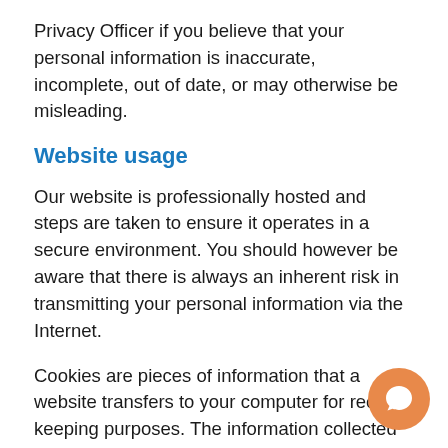Privacy Officer if you believe that your personal information is inaccurate, incomplete, out of date, or may otherwise be misleading.
Website usage
Our website is professionally hosted and steps are taken to ensure it operates in a secure environment. You should however be aware that there is always an inherent risk in transmitting your personal information via the Internet.
Cookies are pieces of information that a website transfers to your computer for record-keeping purposes. The information collected may be used by CareAbout to improve and customize your experience on our website. In addition, we collect aggregated...